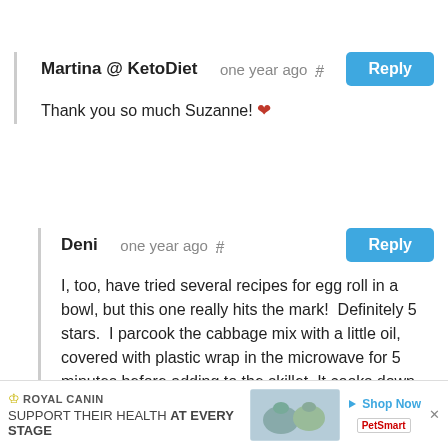Martina @ KetoDiet   one year ago #   Reply
Thank you so much Suzanne! ❤
Deni   one year ago #   Reply
I, too, have tried several recipes for egg roll in a bowl, but this one really hits the mark!  Definitely 5 stars.  I parcook the cabbage mix with a little oil, covered with plastic wrap in the microwave for 5 minutes before adding to the skillet. It cooks down
[Figure (other): Royal Canin advertisement banner at bottom of page: Royal Canin logo with crown, tagline 'SUPPORT THEIR HEALTH AT EVERY STAGE', cat food product images, Shop Now button, PetSmart logo, and close X button.]